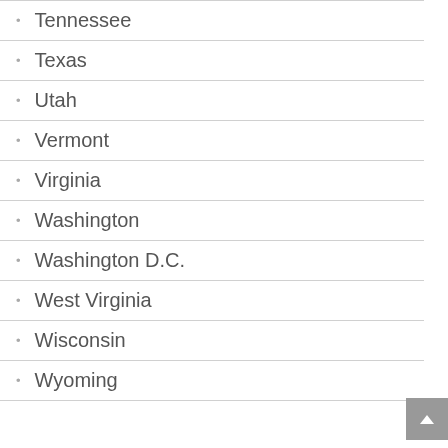Tennessee
Texas
Utah
Vermont
Virginia
Washington
Washington D.C.
West Virginia
Wisconsin
Wyoming